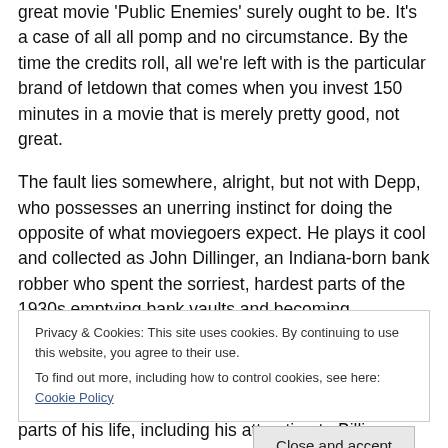great movie 'Public Enemies' surely ought to be. It's a case of all all pomp and no circumstance. By the time the credits roll, all we're left with is the particular brand of letdown that comes when you invest 150 minutes in a movie that is merely pretty good, not great.
The fault lies somewhere, alright, but not with Depp, who possesses an unerring instinct for doing the opposite of what moviegoers expect. He plays it cool and collected as John Dillinger, an Indiana-born bank robber who spent the sorriest, hardest parts of the 1930s emptying bank vaults and becoming something of a national hero in the
Privacy & Cookies: This site uses cookies. By continuing to use this website, you agree to their use.
To find out more, including how to control cookies, see here: Cookie Policy
Close and accept
parts of his life, including his attraction to Billie Lechette